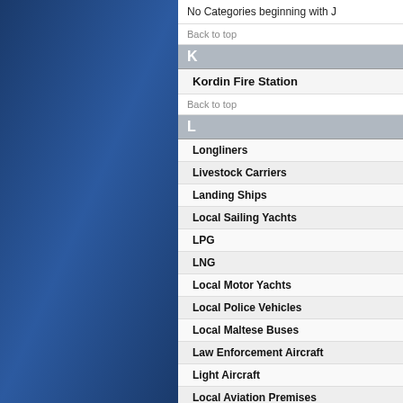No Categories beginning with J
Back to top
K
Kordin Fire Station
Back to top
L
Longliners
Livestock Carriers
Landing Ships
Local Sailing Yachts
LPG
LNG
Local Motor Yachts
Local Police Vehicles
Local Maltese Buses
Law Enforcement Aircraft
Light Aircraft
Local Aviation Premises
Lighthouses
Libyan Harbours